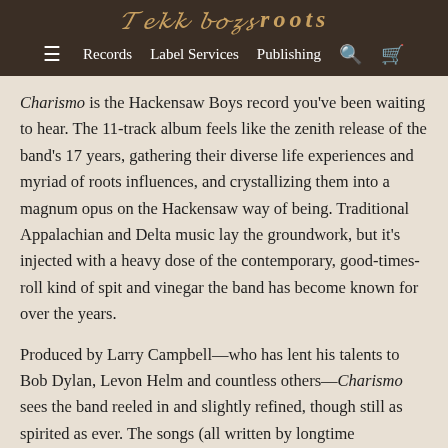[logo: script lettering]
Records  Label Services  Publishing  [search icon] [cart icon]
Charismo is the Hackensaw Boys record you've been waiting to hear. The 11-track album feels like the zenith release of the band's 17 years, gathering their diverse life experiences and myriad of roots influences, and crystallizing them into a magnum opus on the Hackensaw way of being. Traditional Appalachian and Delta music lay the groundwork, but it's injected with a heavy dose of the contemporary, good-times-roll kind of spit and vinegar the band has become known for over the years.
Produced by Larry Campbell—who has lent his talents to Bob Dylan, Levon Helm and countless others—Charismo sees the band reeled in and slightly refined, though still as spirited as ever. The songs (all written by longtime Hackensaw David Sickmen and Fred Moxie) continue to...